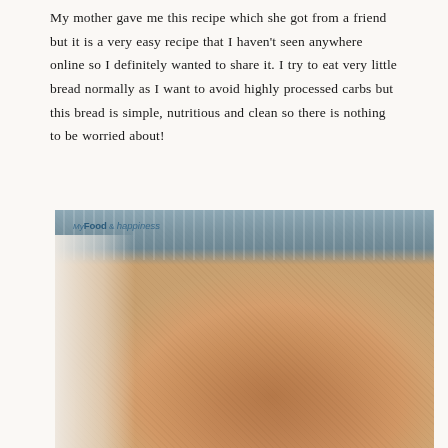My mother gave me this recipe which she got from a friend but it is a very easy recipe that I haven't seen anywhere online so I definitely wanted to share it. I try to eat very little bread normally as I want to avoid highly processed carbs but this bread is simple, nutritious and clean so there is nothing to be worried about!
[Figure (photo): Close-up photo of a rustic round loaf of bread in a basket lined with a blue and white cloth, with watermark 'My Food & happiness' in the top left corner]